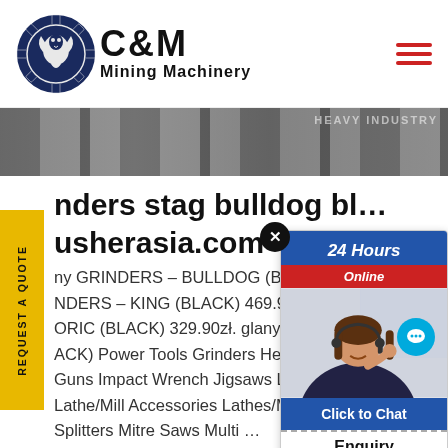[Figure (logo): C&M Mining Machinery logo with eagle gear icon in navy blue]
[Figure (photo): Industrial factory/warehouse banner image]
REQUEST A QUOTE
inders stag bulldog bl... usherasia.com
ny GRINDERS - BULLDOG (BLACK... NDERS - KING (BLACK) 469.90zt. ORIC (BLACK) 329.90zt. glany GRI... ACK) Power Tools Grinders Hed... Guns Impact Wrench Jigsaws L... Lathe/Mill Accessories Lathes/Millin... Splitters Mitre Saws Multi ...
[Figure (screenshot): 24 Hours Online chat widget with customer service representative photo, Click to Chat button, and Enquiry section]